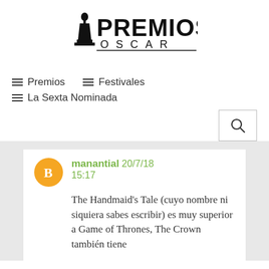[Figure (logo): Premios Oscar logo with Oscar statuette silhouette and bold PREMIOS OSCAR text]
≡ Premios
≡ Festivales
≡ La Sexta Nominada
manantial 20/7/18 15:17
The Handmaid's Tale (cuyo nombre ni siquiera sabes escribir) es muy superior a Game of Thrones, The Crown también tiene